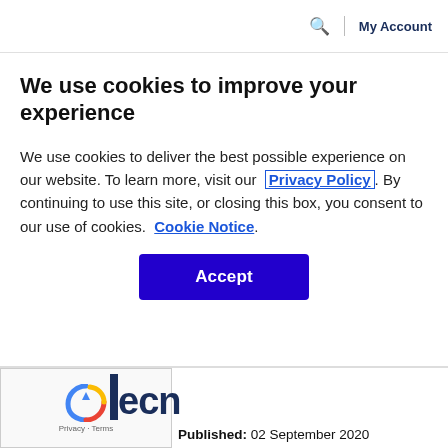🔍  |  My Account
We use cookies to improve your experience
We use cookies to deliver the best possible experience on our website. To learn more, visit our  Privacy Policy . By continuing to use this site, or closing this box, you consent to our use of cookies.  Cookie Notice .
Accept
Published: 02 September 2020